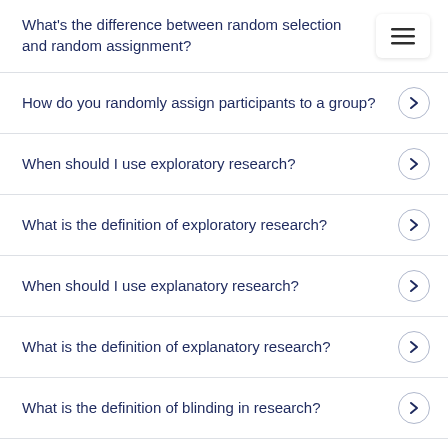What's the difference between random selection and random assignment?
How do you randomly assign participants to a group?
When should I use exploratory research?
What is the definition of exploratory research?
When should I use explanatory research?
What is the definition of explanatory research?
What is the definition of blinding in research?
Why is blinding important in research?